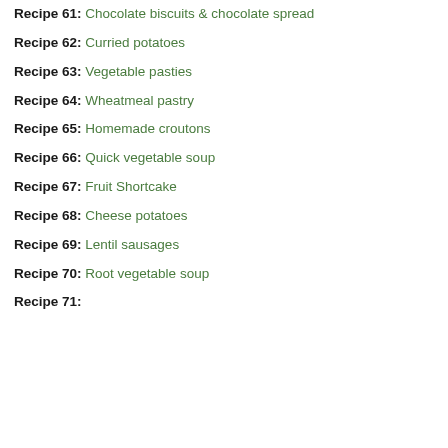Recipe 61: Chocolate biscuits & chocolate spread
Recipe 62: Curried potatoes
Recipe 63: Vegetable pasties
Recipe 64: Wheatmeal pastry
Recipe 65: Homemade croutons
Recipe 66: Quick vegetable soup
Recipe 67: Fruit Shortcake
Recipe 68: Cheese potatoes
Recipe 69: Lentil sausages
Recipe 70: Root vegetable soup
Recipe 71: ...